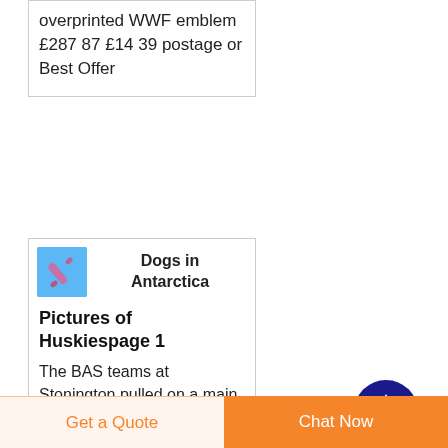overprinted WWF emblem £287 87 £14 39 postage or Best Offer
[Figure (illustration): Small blue-background thumbnail with a pink/purple cylindrical object (possibly a tube or pencil)]
Dogs in Antarctica
Pictures of Huskiespage 1
The BAS teams at Stonington pulled on a main trace set up 4 pairs plus a leader out front rather than a fan trace These three are left to right Nasr Myrna leader and Hamad Nasr s brother Pancho and
[Figure (other): Dark blue circular button with white upward arrow (scroll to top button)]
Get a Quote
Chat Now